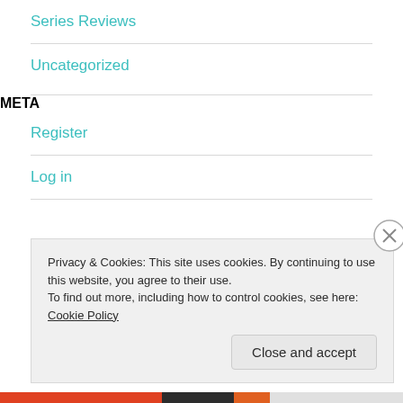Series Reviews
Uncategorized
META
Register
Log in
Privacy & Cookies: This site uses cookies. By continuing to use this website, you agree to their use.
To find out more, including how to control cookies, see here: Cookie Policy
Close and accept